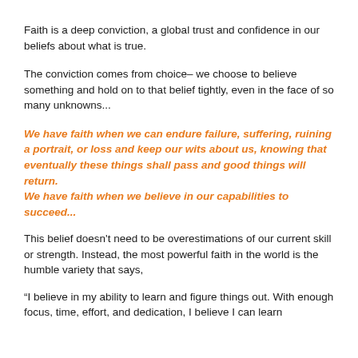Faith is a deep conviction, a global trust and confidence in our beliefs about what is true.
The conviction comes from choice– we choose to believe something and hold on to that belief tightly, even in the face of so many unknowns...
We have faith when we can endure failure, suffering, ruining a portrait, or loss and keep our wits about us, knowing that eventually these things shall pass and good things will return.
We have faith when we believe in our capabilities to succeed...
This belief doesn't need to be overestimations of our current skill or strength. Instead, the most powerful faith in the world is the humble variety that says,
“I believe in my ability to learn and figure things out. With enough focus, time, effort, and dedication, I believe I can learn